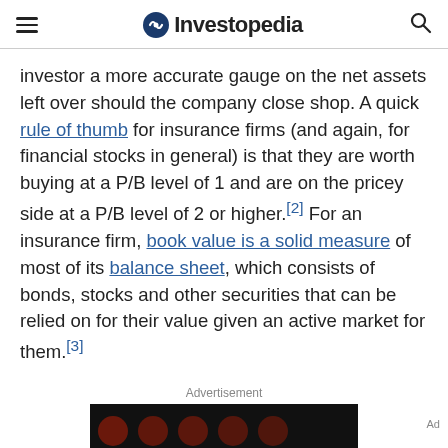Investopedia
investor a more accurate gauge on the net assets left over should the company close shop. A quick rule of thumb for insurance firms (and again, for financial stocks in general) is that they are worth buying at a P/B level of 1 and are on the pricey side at a P/B level of 2 or higher.[2] For an insurance firm, book value is a solid measure of most of its balance sheet, which consists of bonds, stocks and other securities that can be relied on for their value given an active market for them.[3]
Advertisement